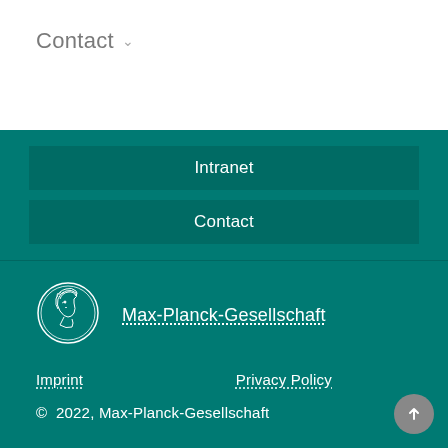Contact ∨
Intranet
Contact
[Figure (logo): Max-Planck-Gesellschaft circular coin medallion logo in white outline on teal background]
Max-Planck-Gesellschaft
Imprint
Privacy Policy
© 2022, Max-Planck-Gesellschaft